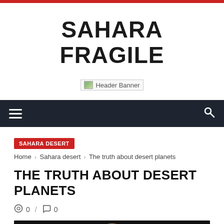SAHARA FRAGILE
[Figure (other): Header Banner image placeholder]
Navigation bar with hamburger menu and search icon
SAHARA DESERT  Home › Sahara desert › The truth about desert planets
THE TRUTH ABOUT DESERT PLANETS
0 / 0
[Figure (photo): Image of a desert planet, dark background with planet surface visible at bottom]